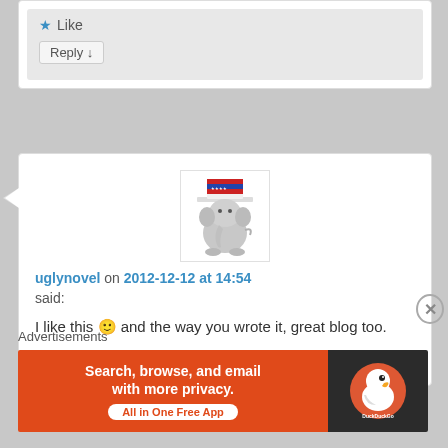[Figure (screenshot): Top partial comment section with Like button and Reply button on grey background]
[Figure (illustration): Elephant avatar wearing Uncle Sam top hat]
uglynovel on 2012-12-12 at 14:54
said:
I like this 🙂 and the way you wrote it, great blog too.
Like
Advertisements
[Figure (screenshot): DuckDuckGo advertisement banner: Search, browse, and email with more privacy. All in One Free App]